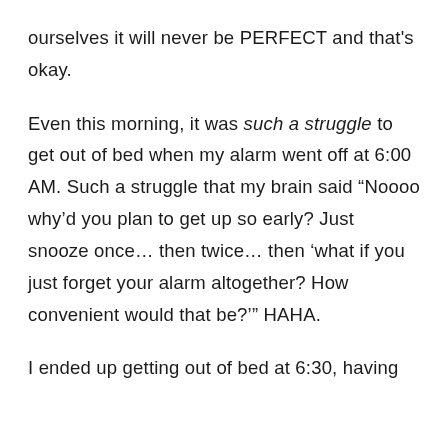ourselves it will never be PERFECT and that's okay.
Even this morning, it was such a struggle to get out of bed when my alarm went off at 6:00 AM. Such a struggle that my brain said “Noooo why’d you plan to get up so early? Just snooze once… then twice… then ‘what if you just forget your alarm altogether? How convenient would that be?’” HAHA.
I ended up getting out of bed at 6:30, having